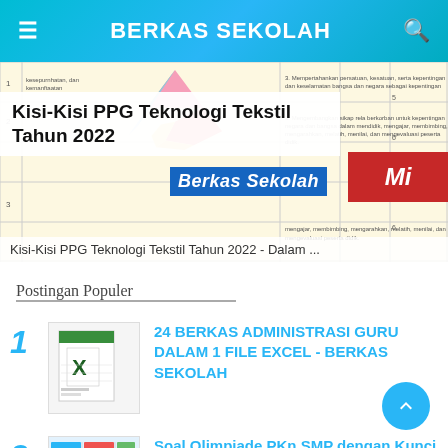BERKAS SEKOLAH
[Figure (screenshot): Featured article image showing a table document with colorful polygon logo, BERKAS SEKOLAH banner in blue, and red logo element on the right]
Kisi-Kisi PPG Teknologi Tekstil Tahun 2022 - Dalam ...
Postingan Populer
24 BERKAS ADMINISTRASI GURU DALAM 1 FILE EXCEL - BERKAS SEKOLAH
Soal Olimpiade PKn SMP dengan Kunci Jawaban